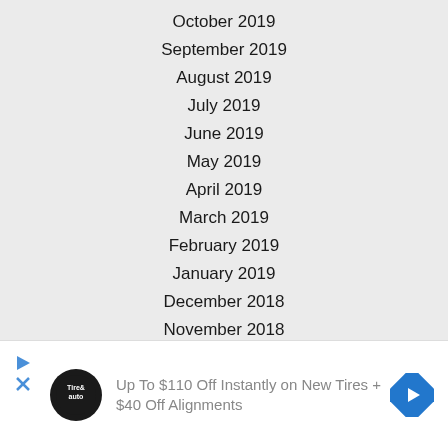October 2019
September 2019
August 2019
July 2019
June 2019
May 2019
April 2019
March 2019
February 2019
January 2019
December 2018
November 2018
[Figure (other): Advertisement banner: Tire & Auto logo, text 'Up To $110 Off Instantly on New Tires + $40 Off Alignments', blue diamond navigation arrow icon]